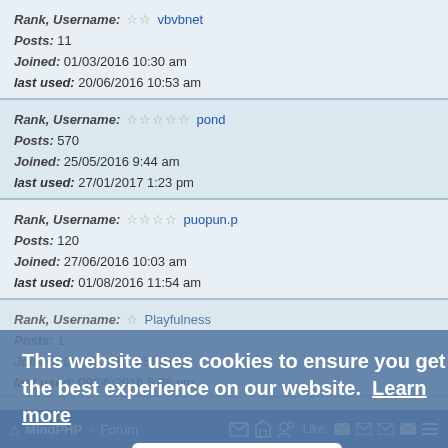Rank, Username: ☆☆ vbvbnet
Posts: 11
Joined: 01/03/2016 10:30 am
last used: 20/06/2016 10:53 am
Rank, Username: ☆☆☆☆☆ pond
Posts: 570
Joined: 25/05/2016 9:44 am
last used: 27/01/2017 1:23 pm
Rank, Username: ☆☆☆☆ puopun.p
Posts: 120
Joined: 27/06/2016 10:03 am
last used: 01/08/2016 11:54 am
Rank, Username: ☆ Playfulness
Posts: 1
Joined: 09/06/2016 4:58 pm
last used: 09/06/2016 5:06 pm
This website uses cookies to ensure you get the best experience on our website. Learn more
Got it!
MindPHP · Forum   Like: